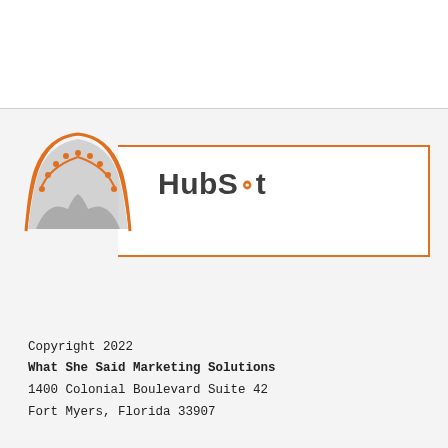[Figure (logo): HubSpot certification badge logo with orange arc and stars above a grey mountain shape, next to HubSpot wordmark in an orange-bordered box]
Copyright 2022
What She Said Marketing Solutions
1400 Colonial Boulevard Suite 42
Fort Myers, Florida 33907